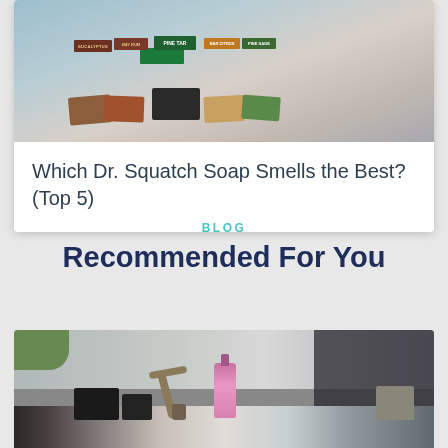[Figure (photo): Photo of multiple Dr. Squatch soap bars with labels including Pine Tar, Bay Rum, Bar Citrus, and other varieties arranged on a surface]
Which Dr. Squatch Soap Smells the Best? (Top 5)
BLOG
Recommended For You
[Figure (photo): Photo of a bathroom sink area with a bronze/brass faucet, a pink soap dispenser, and various personal care products on a marble countertop]